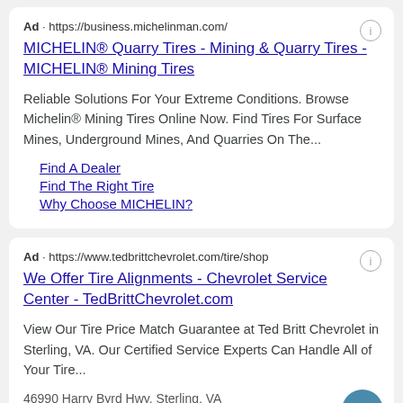Ad · https://business.michelinman.com/
MICHELIN® Quarry Tires - Mining & Quarry Tires - MICHELIN® Mining Tires
Reliable Solutions For Your Extreme Conditions. Browse Michelin® Mining Tires Online Now. Find Tires For Surface Mines, Underground Mines, And Quarries On The...
Find A Dealer
Find The Right Tire
Why Choose MICHELIN?
Ad · https://www.tedbrittchevrolet.com/tire/shop
We Offer Tire Alignments - Chevrolet Service Center - TedBrittChevrolet.com
View Our Tire Price Match Guarantee at Ted Britt Chevrolet in Sterling, VA. Our Certified Service Experts Can Handle All of Your Tire...
46990 Harry Byrd Hwy, Sterling, VA
New Car Battery: